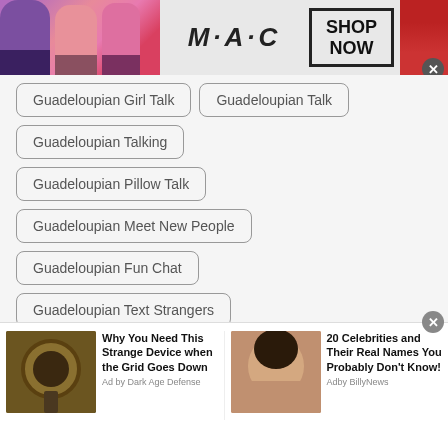[Figure (screenshot): MAC Cosmetics advertisement banner with lipsticks and SHOP NOW button]
Guadeloupian Girl Talk
Guadeloupian Talk
Guadeloupian Talking
Guadeloupian Pillow Talk
Guadeloupian Meet New People
Guadeloupian Fun Chat
Guadeloupian Text Strangers
Guadeloupian Free Talk and Text
[Figure (screenshot): Bottom advertisement bar with two sponsored content items: 'Why You Need This Strange Device when the Grid Goes Down' by Dark Age Defense, and '20 Celebrities and Their Real Names You Probably Don't Know!' by AdbyBillyNews]